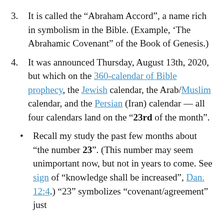3. It is called the “Abraham Accord”, a name rich in symbolism in the Bible. (Example, ‘The Abrahamic Covenant” of the Book of Genesis.)
4. It was announced Thursday, August 13th, 2020, but which on the 360-calendar of Bible prophecy, the Jewish calendar, the Arab/Muslim calendar, and the Persian (Iran) calendar — all four calendars land on the “23rd of the month”.
Recall my study the past few months about “the number 23”. (This number may seem unimportant now, but not in years to come. See sign of “knowledge shall be increased”, Dan. 12:4.) “23” symbolizes “covenant/agreement” just